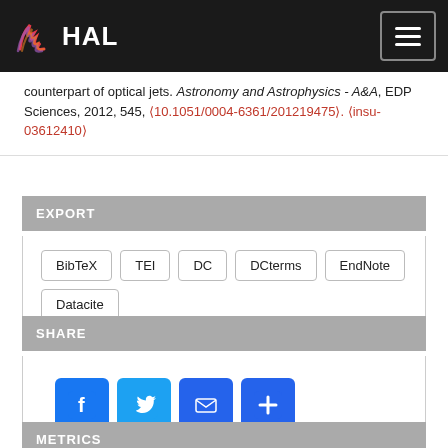HAL
counterpart of optical jets. Astronomy and Astrophysics - A&A, EDP Sciences, 2012, 545, (10.1051/0004-6361/201219475). (insu-03612410)
EXPORT
BibTeX | TEI | DC | DCterms | EndNote | Datacite
SHARE
[Figure (infographic): Social share buttons: Facebook, Twitter, Email, More]
METRICS
Record views
15
Files downloads